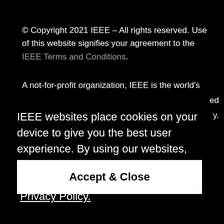© Copyright 2021 IEEE – All rights reserved. Use of this website signifies your agreement to the IEEE Terms and Conditions.
A not-for-profit organization, IEEE is the world's
IEEE websites place cookies on your device to give you the best user experience. By using our websites, you agree to the placement of these cookies. To learn more, read our Privacy Policy.
Accept & Close